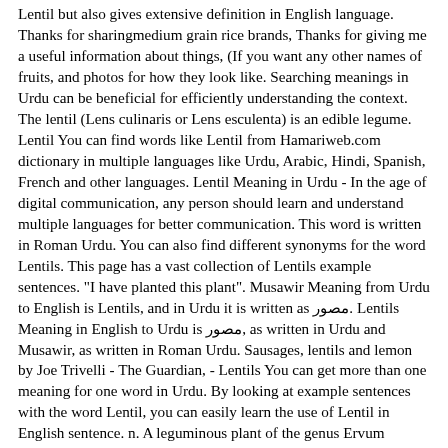Lentil but also gives extensive definition in English language. Thanks for sharingmedium grain rice brands, Thanks for giving me a useful information about things, (If you want any other names of fruits, and photos for how they look like. Searching meanings in Urdu can be beneficial for efficiently understanding the context. The lentil (Lens culinaris or Lens esculenta) is an edible legume. Lentil You can find words like Lentil from Hamariweb.com dictionary in multiple languages like Urdu, Arabic, Hindi, Spanish, French and other languages. Lentil Meaning in Urdu - In the age of digital communication, any person should learn and understand multiple languages for better communication. This word is written in Roman Urdu. You can also find different synonyms for the word Lentils. This page has a vast collection of Lentils example sentences. "I have planted this plant". Musawir Meaning from Urdu to English is Lentils, and in Urdu it is written as مصور. Lentils Meaning in English to Urdu is مصور, as written in Urdu and Musawir, as written in Roman Urdu. Sausages, lentils and lemon by Joe Trivelli - The Guardian, - Lentils You can get more than one meaning for one word in Urdu. By looking at example sentences with the word Lentil, you can easily learn the use of Lentil in English sentence. n. A leguminous plant of the genus Ervum (Ervum Lens), of small size, common in the fields in Europe. This word is written in Roman Urdu. English/ Hindi Indian Dals Names. Lentil Meaning in Urdu - In the age of digital communication, any person should learn and understand multiple languages for better communication. Lentil meaning in Urdu is